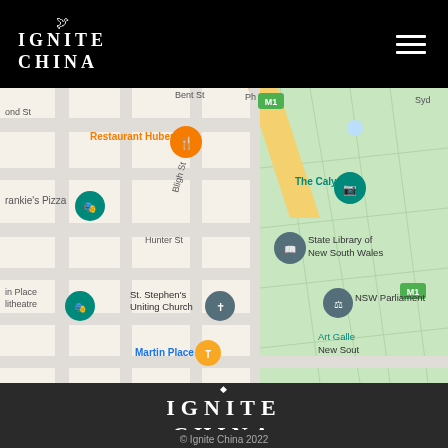IGNITE CHINA
[Figure (map): Google Maps view of Sydney CBD area showing landmarks including Restaurant Hubert, Frankie's Pizza, St. Stephen's Uniting Church, Martin Place, State Library of New South Wales, The Calyx, NSW Parliament, and Art Gallery of New South Wales. Streets visible include Bligh St, Hunter St, Bent St.]
[Figure (logo): Ignite China logo in white text with flame symbol on dark background]
© Ignite China 2022